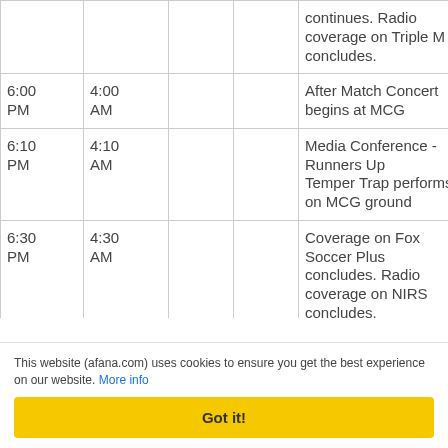| Time (Local) | Time (UTC) |  |  | Description |  |
| --- | --- | --- | --- | --- | --- |
|  |  |  |  | continues. Radio coverage on Triple M concludes. |  |
| 6:00 PM | 4:00 AM |  |  | After Match Concert begins at MCG |  |
| 6:10 PM | 4:10 AM |  |  | Media Conference - Runners Up
Temper Trap performs on MCG ground |  |
| 6:30 PM | 4:30 AM |  |  | Coverage on Fox Soccer Plus concludes. Radio coverage on NIRS concludes. |  |
| 6:35 | 4:35 |  |  | Media Conference - |  |
This website (afana.com) uses cookies to ensure you get the best experience on our website. More info
Got it!